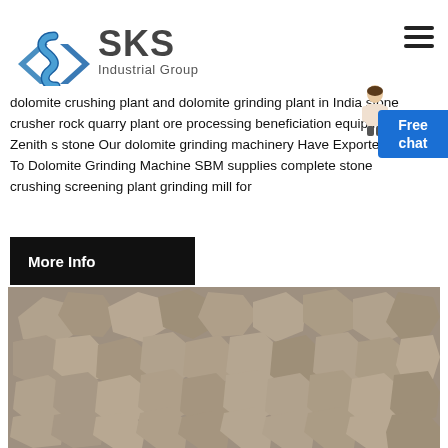[Figure (logo): SKS Industrial Group logo with angular bracket S symbol in blue and gray text]
dolomite crushing plant and dolomite grinding plant in India stone crusher rock quarry plant ore processing beneficiation equipment Zenith s stone Our dolomite grinding machinery Have Exported To Dolomite Grinding Machine SBM supplies complete stone crushing screening plant grinding mill for
[Figure (infographic): Free chat button in blue with person/assistant illustration pointing to it]
[Figure (other): More Info button black background with white bold text]
[Figure (photo): Crushed stone / dolomite aggregate rocks photo]